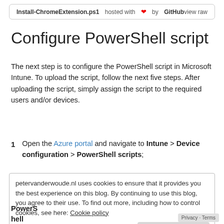Install-ChromeExtension.ps1 hosted with ❤ by GitHub   view raw
Configure PowerShell script
The next step is to configure the PowerShell script in Microsoft Intune. To upload the script, follow the next five steps. After uploading the script, simply assign the script to the required users and/or devices.
1   Open the Azure portal and navigate to Intune > Device configuration > PowerShell scripts;
petervanderwoude.nl uses cookies to ensure that it provides you the best experience on this blog. By continuing to use this blog, you agree to their use. To find out more, including how to control cookies, see here: Cookie policy   Close and accept
PowerShell